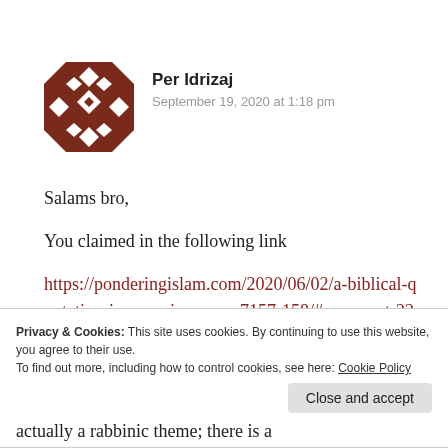[Figure (illustration): Geometric avatar with brown and white diamond/triangle pattern in a square grid]
Per Idrizaj
September 19, 2020 at 1:18 pm
Salams bro,
You claimed in the following link
https://ponderingislam.com/2020/06/02/a-biblical-quotation-in-quranic-verses-7157-158/#comment-2245
Privacy & Cookies: This site uses cookies. By continuing to use this website, you agree to their use.
To find out more, including how to control cookies, see here: Cookie Policy
Close and accept
actually a rabbinic theme; there is a